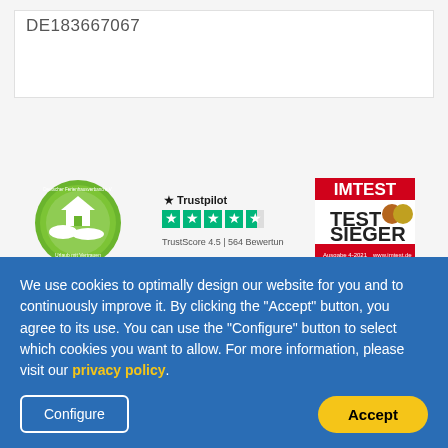DE183667067
[Figure (logo): Deutscher Ferienhausverband e.V. circular green logo with house and landscape icon, text 'Urlaub mit Vertrauen']
[Figure (logo): Trustpilot logo with 4.5 star rating, TrustScore 4.5 | 564 Bewertungen]
[Figure (logo): IMTEST TEST SIEGER badge, Ausgabe 4-2021, www.imtest.de]
We use cookies to optimally design our website for you and to continuously improve it. By clicking the "Accept" button, you agree to its use. You can use the "Configure" button to select which cookies you want to allow. For more information, please visit our privacy policy.
Configure
Accept